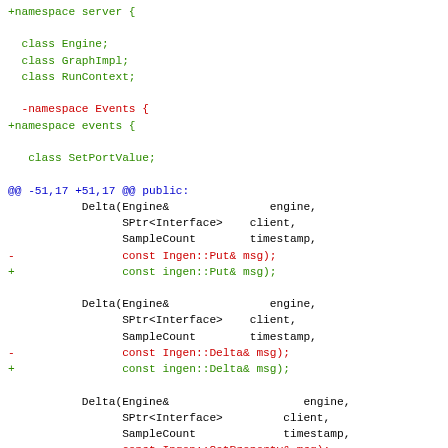[Figure (other): A unified diff / code patch showing C++ namespace and class declaration changes, with green added lines, red removed lines, and blue diff hunk headers. Content includes namespace renaming from 'Events' to 'events', and constructor parameter type changes from Ingen:: to ingen:: for Put, Delta, and SetProperty message types.]